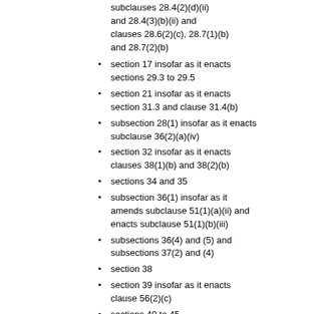subclauses 28.4(2)(d)(ii) and 28.4(3)(b)(ii) and clauses 28.6(2)(c), 28.7(1)(b) and 28.7(2)(b)
section 17 insofar as it enacts sections 29.3 to 29.5
section 21 insofar as it enacts section 31.3 and clause 31.4(b)
subsection 28(1) insofar as it enacts subclause 36(2)(a)(iv)
section 32 insofar as it enacts clauses 38(1)(b) and 38(2)(b)
sections 34 and 35
subsection 36(1) insofar as it amends subclause 51(1)(a)(ii) and enacts subclause 51(1)(b)(iii)
subsections 36(4) and (5) and subsections 37(2) and (4)
section 38
section 39 insofar as it enacts clause 56(2)(c)
sections 40 to 45
subsections 46(2) to (6)
sections 47 to 51 and 53 to 59
section 60 insofar as it enacts clauses 95(1)(b), 95(2)(b), 95.1(1)(b) and subclauses 95.1(2)(a)(ii) and 95.1(2)(c)(ii) and (iii)